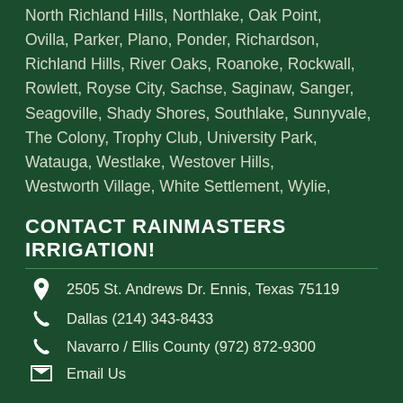North Richland Hills, Northlake, Oak Point, Ovilla, Parker, Plano, Ponder, Richardson, Richland Hills, River Oaks, Roanoke, Rockwall, Rowlett, Royse City, Sachse, Saginaw, Sanger, Seagoville, Shady Shores, Southlake, Sunnyvale, The Colony, Trophy Club, University Park, Watauga, Westlake, Westover Hills, Westworth Village, White Settlement, Wylie,
CONTACT RAINMASTERS IRRIGATION!
2505 St. Andrews Dr. Ennis, Texas 75119
Dallas (214) 343-8433
Navarro / Ellis County (972) 872-9300
Email Us